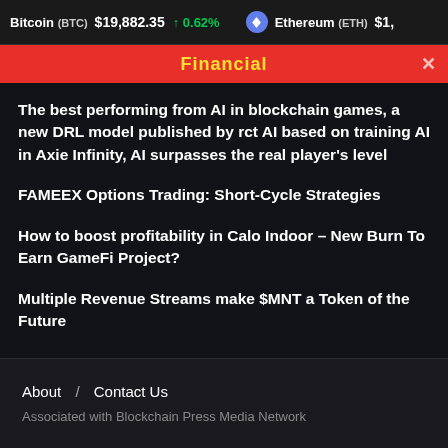Bitcoin (BTC) $19,882.35 ↑ 0.62%   Ethereum (ETH) $1,...
Financial
The best performing from AI in blockchain games, a new DRL model published by rct AI based on training AI in Axie Infinity, AI surpasses the real player's level
FAMEEX Options Trading: Short-Cycle Strategies
How to boost profitability in Calo Indoor – New Burn To Earn GameFi Project?
Multiple Revenue Streams make $MNT a Token of the Future
About / Contact Us
Associated with Blockchain Press Media Network